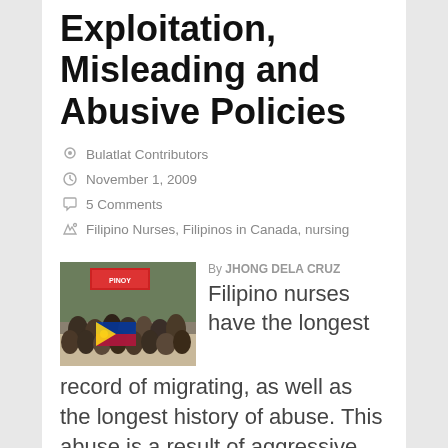Exploitation, Misleading and Abusive Policies
Bulatlat Contributors
November 1, 2009
5 Comments
Filipino Nurses, Filipinos in Canada, nursing
[Figure (photo): Group photo of Filipino nurses holding a Philippine flag at an indoor gathering, with a sign reading 'PINOY' visible in the background]
By JHONG DELA CRUZ
Filipino nurses have the longest record of migrating, as well as the longest history of abuse. This abuse is a result of aggressive, profit-driven,